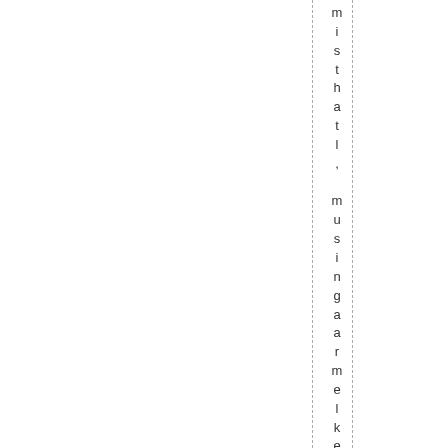mis that l, mus ingaarm el kern el on a